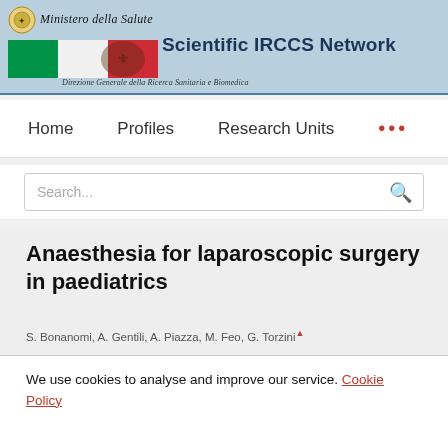Ministero della Salute — Scientific IRCCS Network — Direzione Generale della Ricerca Sanitaria e Biomedica
Home   Profiles   Research Units   •••
Search...
Anaesthesia for laparoscopic surgery in paediatrics
S. Bonanomi, A. Gentili, A. Piazza, M. Feo, G. Torzini ...
We use cookies to analyse and improve our service. Cookie Policy